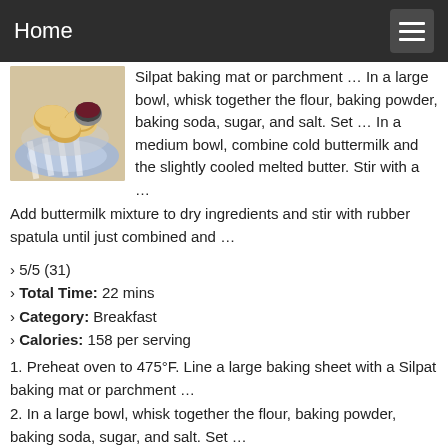Home
[Figure (photo): Photo of biscuits in a bowl with jam on a blue and white cloth]
Silpat baking mat or parchment … In a large bowl, whisk together the flour, baking powder, baking soda, sugar, and salt. Set … In a medium bowl, combine cold buttermilk and the slightly cooled melted butter. Stir with a … Add buttermilk mixture to dry ingredients and stir with rubber spatula until just combined and …
› 5/5 (31)
› Total Time: 22 mins
› Category: Breakfast
› Calories: 158 per serving
1. Preheat oven to 475°F. Line a large baking sheet with a Silpat baking mat or parchment …
2. In a large bowl, whisk together the flour, baking powder, baking soda, sugar, and salt. Set …
3. In a medium bowl, combine cold buttermilk and the slightly cooled melted butter. Stir with a …